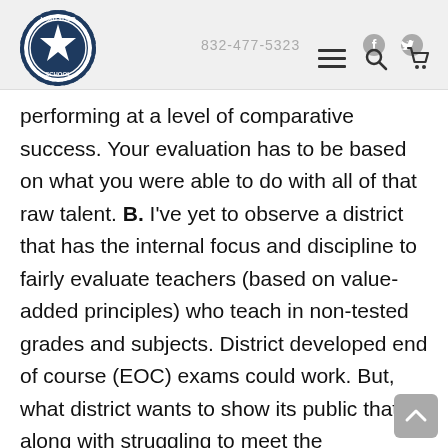832-477-5323
performing at a level of comparative success. Your evaluation has to be based on what you were able to do with all of that raw talent. B. I've yet to observe a district that has the internal focus and discipline to fairly evaluate teachers (based on value-added principles) who teach in non-tested grades and subjects. District developed end of course (EOC) exams could work. But, what district wants to show its public that along with struggling to meet the performance requirements of state mandated exams, that it is also has similar problems in grades and courses that no one has been